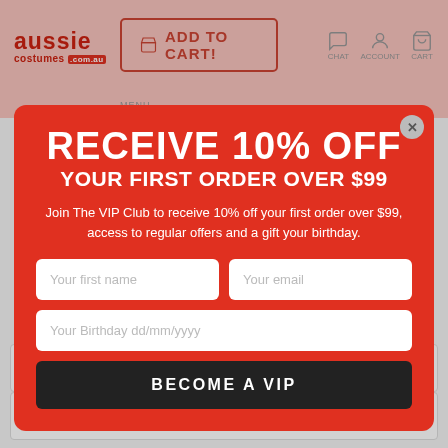aussie costumes.com.au | ADD TO CART! | MENU | CHAT | ACCOUNT | CART
[Figure (screenshot): Modal popup on e-commerce website (aussie costumes) with red background offering 10% off first order over $99 for VIP Club members, with form fields for first name, email, birthday, and a 'BECOME A VIP' button]
RECEIVE 10% OFF
YOUR FIRST ORDER OVER $99
Join The VIP Club to receive 10% off your first order over $99, access to regular offers and a gift your birthday.
Your first name
Your email
Your Birthday dd/mm/yyyy
BECOME A VIP
Delivery
Returns